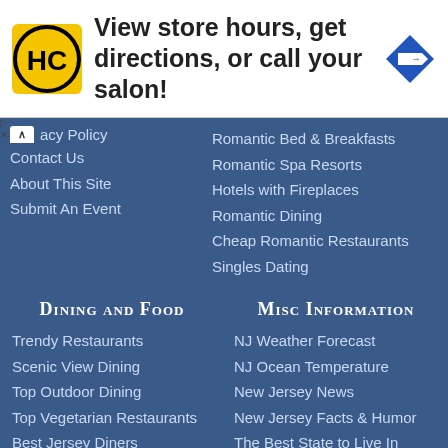[Figure (infographic): Advertisement banner with HC logo, text 'View store hours, get directions, or call your salon!', and a blue direction sign icon]
acy Policy
Contact Us
About This Site
Submit An Event
Romantic Bed & Breakfasts
Romantic Spa Resorts
Hotels with Fireplaces
Romantic Dining
Cheap Romantic Restaurants
Singles Dating
Dining and Food
Misc Information
Trendy Restaurants
Scenic View Dining
Top Outdoor Dining
Top Vegetarian Restaurants
Best Jersey Diners
Top Historic Restaurants
NJ Weather Forecast
NJ Ocean Temperature
New Jersey News
New Jersey Facts & Humor
The Best State to Live In
NJ's Best by Category